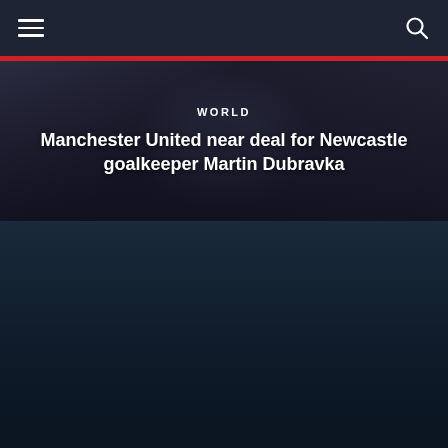Navigation bar with hamburger menu and search icon
Manchester United near deal for Newcastle goalkeeper Martin Dubravka
WORLD
[Figure (photo): Tennis player in white shirt and cap hitting a ball with a yellow-green racket against a dark blue background]